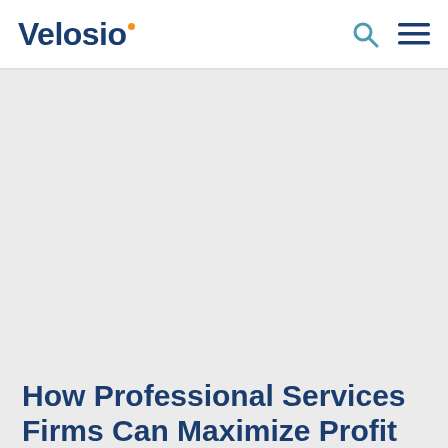Velosio
How Professional Services Firms Can Maximize Profit